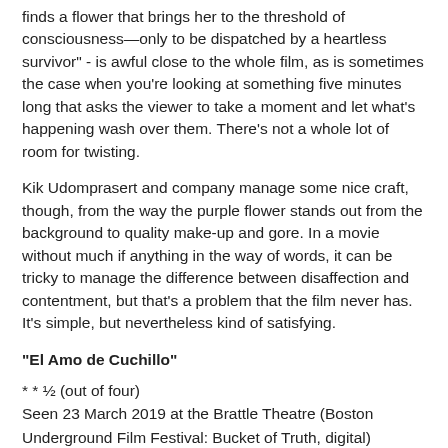finds a flower that brings her to the threshold of consciousness—only to be dispatched by a heartless survivor" - is awful close to the whole film, as is sometimes the case when you're looking at something five minutes long that asks the viewer to take a moment and let what's happening wash over them. There's not a whole lot of room for twisting.
Kik Udomprasert and company manage some nice craft, though, from the way the purple flower stands out from the background to quality make-up and gore. In a movie without much if anything in the way of words, it can be tricky to manage the difference between disaffection and contentment, but that's a problem that the film never has. It's simple, but nevertheless kind of satisfying.
"El Amo de Cuchillo"
* * ½ (out of four)
Seen 23 March 2019 at the Brattle Theatre (Boston Underground Film Festival: Bucket of Truth, digital)